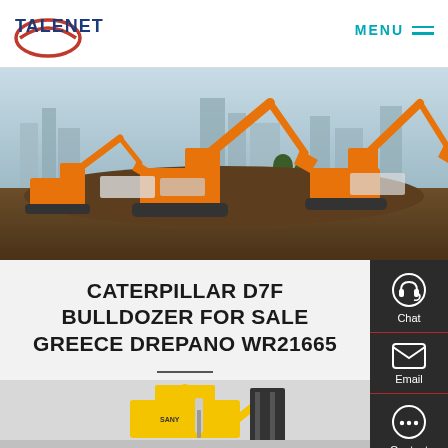TALENET | MENU
[Figure (photo): Construction site with multiple large orange excavators working on earthmoving, city skyline in background]
CATERPILLAR D7F BULLDOZER FOR SALE GREECE DREPANO WR21665
[Figure (photo): Yellow bulldozer/excavator machinery partial view at bottom of page]
[Figure (infographic): Right sidebar with Chat, Email, and Contact icons on dark background]